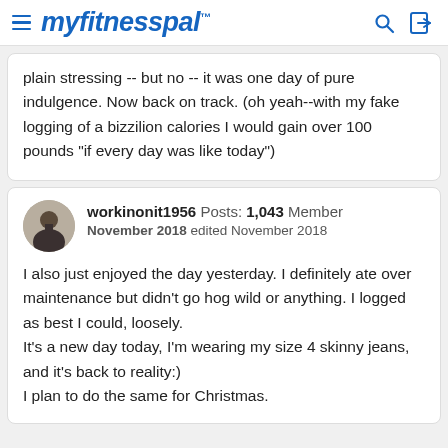myfitnesspal
plain stressing -- but no -- it was one day of pure indulgence. Now back on track. (oh yeah--with my fake logging of a bizzilion calories I would gain over 100 pounds "if every day was like today")
workinonit1956  Posts: 1,043  Member
November 2018  edited November 2018

I also just enjoyed the day yesterday. I definitely ate over maintenance but didn't go hog wild or anything. I logged as best I could, loosely.
It's a new day today, I'm wearing my size 4 skinny jeans, and it's back to reality:)
I plan to do the same for Christmas.